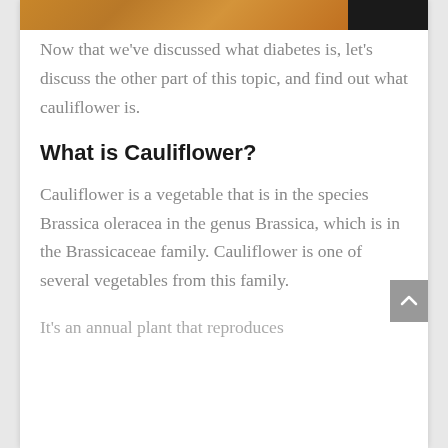[Figure (photo): Top strip showing a wooden surface (brown/orange tones) on the left and a dark/black area on the right]
Now that we've discussed what diabetes is, let's discuss the other part of this topic, and find out what cauliflower is.
What is Cauliflower?
Cauliflower is a vegetable that is in the species Brassica oleracea in the genus Brassica, which is in the Brassicaceae family. Cauliflower is one of several vegetables from this family.
It's an annual plant that reproduces